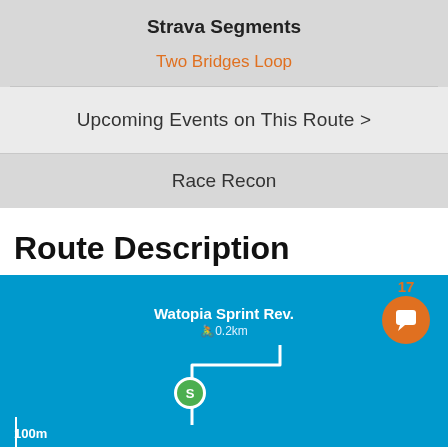Strava Segments
Two Bridges Loop
Upcoming Events on This Route >
Race Recon
Route Description
[Figure (screenshot): Blue map screenshot showing Watopia Sprint Rev. route with 0.2km distance, a route path line, and a green start circle marker. Number 17 and orange chat icon visible in top right.]